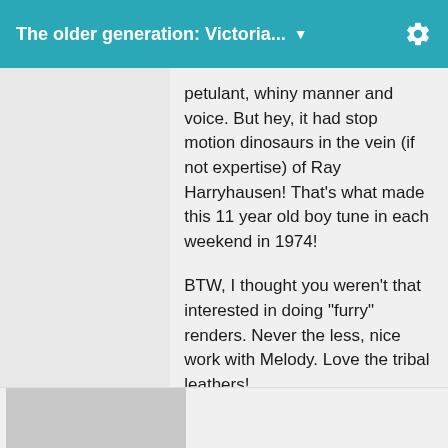The older generation: Victoria... ▼
petulant, whiny manner and voice.  But hey, it had stop motion dinosaurs in the vein (if not expertise) of Ray Harryhausen!  That's what made this 11 year old boy tune in each weekend in 1974!

BTW, I thought you weren't that interested in doing "furry" renders.  Never the less, nice work with Melody.  Love the tribal leathers!

Sincerely,

Bill